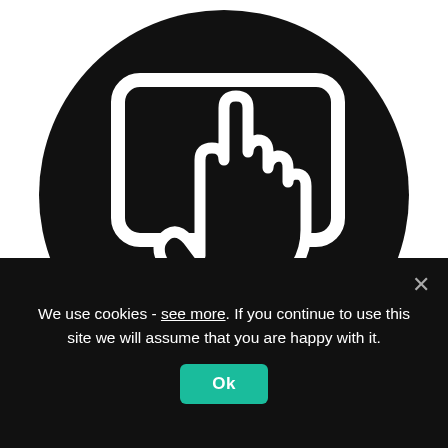[Figure (illustration): Black circle containing a white outlined icon of a hand pointer touching a rounded rectangle tablet/screen. Set on a white background. Below the circle, partially visible large text (website heading) in black is cut off by the cookie banner.]
We use cookies - see more. If you continue to use this site we will assume that you are happy with it.
Ok